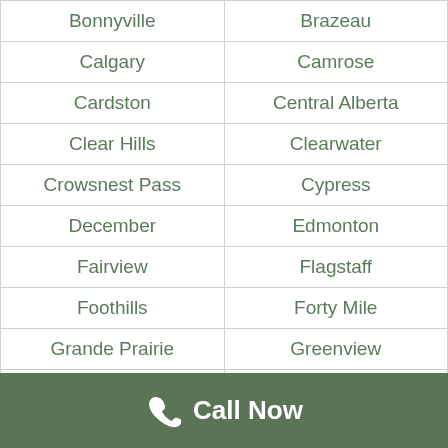| Bonnyville | Brazeau |
| Calgary | Camrose |
| Cardston | Central Alberta |
| Clear Hills | Clearwater |
| Crowsnest Pass | Cypress |
| December | Edmonton |
| Fairview | Flagstaff |
| Foothills | Forty Mile |
| Grande Prairie | Greenview |
| Jasper | Kneehill |
| Lac La Biche | Lac Ste. Anne |
| Lacombe | Lamont |
| Leduc | Lesser Slave River |
| Lethbridge | Mackenzie |
Call Now